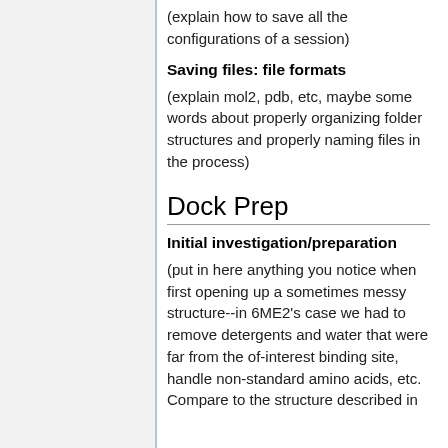(explain how to save all the configurations of a session)
Saving files: file formats
(explain mol2, pdb, etc, maybe some words about properly organizing folder structures and properly naming files in the process)
Dock Prep
Initial investigation/preparation
(put in here anything you notice when first opening up a sometimes messy structure--in 6ME2's case we had to remove detergents and water that were far from the of-interest binding site, handle non-standard amino acids, etc. Compare to the structure described in